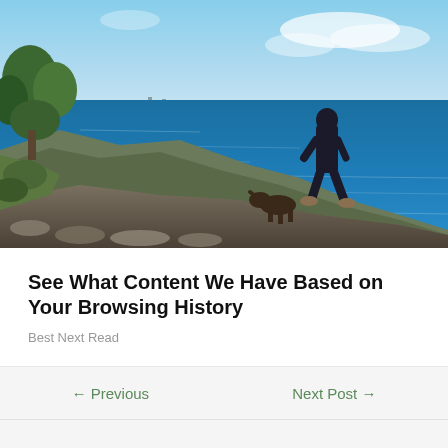[Figure (photo): A person standing on rocky coastal cliffs overlooking a deep blue ocean, with green vegetation on the left and a distant city skyline on the horizon under a clear blue sky.]
See What Content We Have Based on Your Browsing History
Best Next Read
← Previous    Next Post →